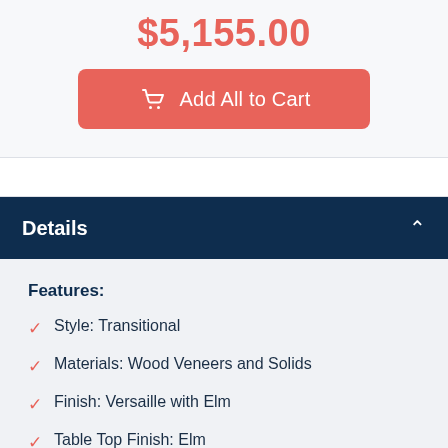$5,155.00
Add All to Cart
Details
Features:
Style: Transitional
Materials: Wood Veneers and Solids
Finish: Versaille with Elm
Table Top Finish: Elm